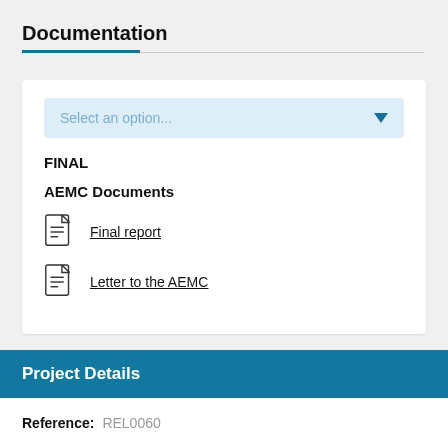Documentation
[Figure (screenshot): Dropdown selector with placeholder text 'Select an option...' and a blue dropdown arrow]
FINAL
AEMC Documents
Final report
Letter to the AEMC
Project Details
Reference: REL0060